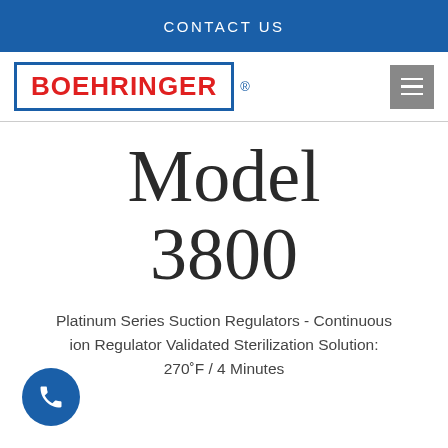CONTACT US
[Figure (logo): Boehringer registered trademark logo with red bold text in blue border rectangle]
Model 3800
Platinum Series Suction Regulators - Continuous ion Regulator Validated Sterilization Solution: 270˚F / 4 Minutes